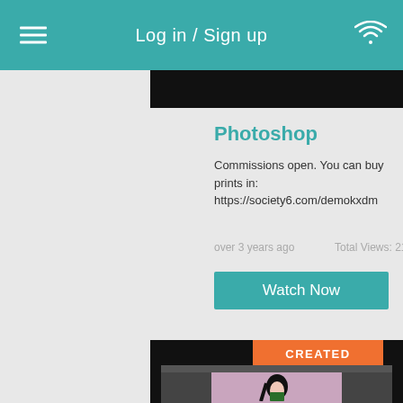Log in / Sign up
[Figure (screenshot): Black banner strip at top of content]
Photoshop
Commissions open. You can buy prints in: https://society6.com/demokxdm
over 3 years ago
Total Views: 21
Watch Now
[Figure (screenshot): Bottom image showing CREATED badge and partial illustration of anime-style girl with black hair on pink/purple background]